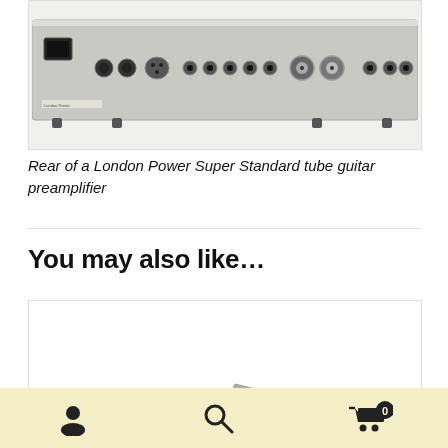[Figure (photo): Rear panel of a London Power Super Standard tube guitar preamplifier, showing various connectors and jacks on a silver/grey rack-mount unit]
Rear of a London Power Super Standard tube guitar preamplifier
You may also like…
[Figure (photo): Partial view of a product, showing grey metal plate or bracket pieces]
Navigation bar with user icon, search icon, and cart icon (0 items)